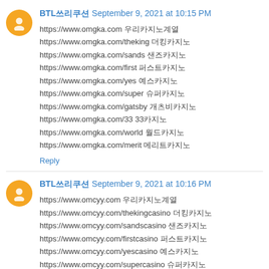BTL쓰리쿠션  September 9, 2021 at 10:15 PM
https://www.omgka.com 우리카지노계열
https://www.omgka.com/theking 더킹카지노
https://www.omgka.com/sands 샌즈카지노
https://www.omgka.com/first 퍼스트카지노
https://www.omgka.com/yes 예스카지노
https://www.omgka.com/super 슈퍼카지노
https://www.omgka.com/gatsby 개츠비카지노
https://www.omgka.com/33 33카지노
https://www.omgka.com/world 월드카지노
https://www.omgka.com/merit 메리트카지노
Reply
BTL쓰리쿠션  September 9, 2021 at 10:16 PM
https://www.omcyy.com 우리카지노계열
https://www.omcyy.com/thekingcasino 더킹카지노
https://www.omcyy.com/sandscasino 샌즈카지노
https://www.omcyy.com/firstcasino 퍼스트카지노
https://www.omcyy.com/yescasino 예스카지노
https://www.omcyy.com/supercasino 슈퍼카지노